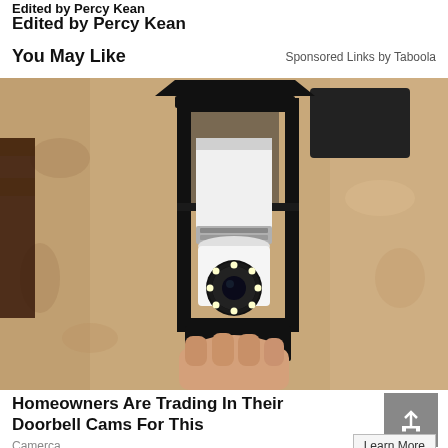Edited by Percy Kean
You May Like
Sponsored Links by Taboola
[Figure (photo): A hand holding a white smart security camera bulb inserted into a black outdoor lantern light fixture mounted on a textured beige stucco wall.]
Homeowners Are Trading In Their Doorbell Cams For This
Camerca
Learn More